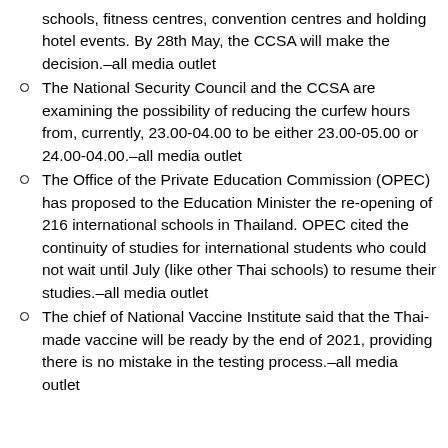schools, fitness centres, convention centres and holding hotel events. By 28th May, the CCSA will make the decision.–all media outlet
The National Security Council and the CCSA are examining the possibility of reducing the curfew hours from, currently, 23.00-04.00 to be either 23.00-05.00 or 24.00-04.00.–all media outlet
The Office of the Private Education Commission (OPEC) has proposed to the Education Minister the re-opening of 216 international schools in Thailand. OPEC cited the continuity of studies for international students who could not wait until July (like other Thai schools) to resume their studies.–all media outlet
The chief of National Vaccine Institute said that the Thai-made vaccine will be ready by the end of 2021, providing there is no mistake in the testing process.–all media outlet